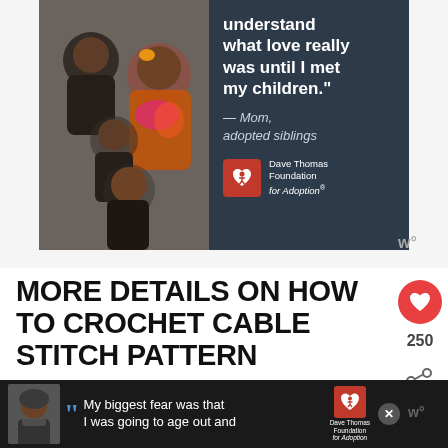[Figure (photo): Advertisement for Dave Thomas Foundation for Adoption showing a smiling family with quote: 'understand what love really was until I met my children.' — Mom, adopted siblings, with Dave Thomas Foundation for Adoption logo]
MORE DETAILS ON HOW TO CROCHET CABLE STITCH PATTERN
4-stitch cable/1 front crossing Var... 2dc1ch/1dc cross-over
Written Pattern: sk 2, dc 2, ch, lon...
[Figure (photo): Bottom advertisement banner for Dave Thomas Foundation for Adoption with text: My biggest fear was that I was going to age out and, with person photo, foundation logo, close button and share icon]